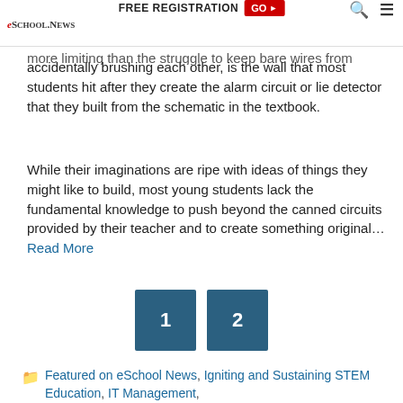eSchool News | FREE REGISTRATION GO
more limiting than the struggle to keep bare wires from accidentally brushing each other, is the wall that most students hit after they create the alarm circuit or lie detector that they built from the schematic in the textbook.
While their imaginations are ripe with ideas of things they might like to build, most young students lack the fundamental knowledge to push beyond the canned circuits provided by their teacher and to create something original….Read More
1
2
Featured on eSchool News, Igniting and Sustaining STEM Education, IT Management,